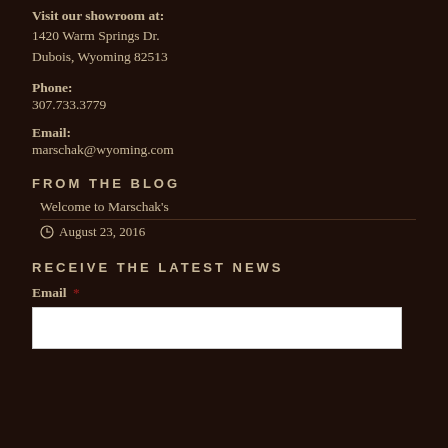Visit our showroom at:
1420 Warm Springs Dr.
Dubois, Wyoming 82513
Phone:
307.733.3779
Email:
marschak@wyoming.com
FROM THE BLOG
Welcome to Marschak's
August 23, 2016
RECEIVE THE LATEST NEWS
Email *